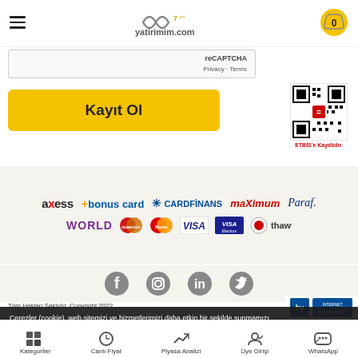yatirimim.com - 7.yıl header with navigation
[Figure (screenshot): reCAPTCHA widget showing Privacy - Terms]
[Figure (screenshot): Kayıt Ol (Register) button in yellow]
[Figure (screenshot): ETBİS QR code with ETBİS'e Kayıtlıdır label]
[Figure (infographic): Payment method logos: axess, bonus card, CardFinans, maximum, Paraf, WORLD, Maestro, MasterCard, VISA, VISA Electron, Thawte]
[Figure (infographic): Social media icons: Facebook, Instagram, LinkedIn, Twitter]
Tüm Hakları Saklıdır. Copyright 2022
Çerezler (cookie), web sitemizi ve hizmetlerimizi daha etkin bir şekilde sunmamızı sağlamaktadır. Detaylı bilgi için Kişisel Verilerin Korunması ve İşlenmesi Politikasını inceleyebilirsiniz.
Kategoriler   Canlı Fiyat   Piyasa Analizi   Üye Girişi   WhatsApp